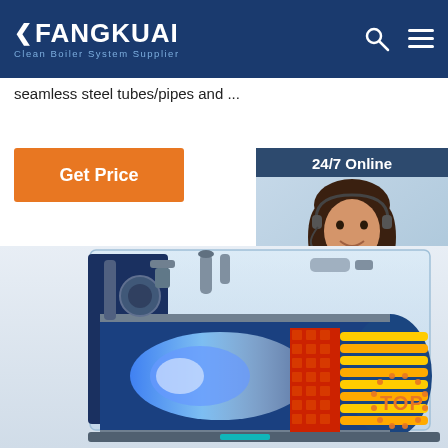FANGKUAI — Clean Boiler System Supplier
seamless steel tubes/pipes and ...
Get Price
[Figure (photo): Customer service representative with headset, 24/7 Online chat widget with QUOTATION button]
[Figure (engineering-diagram): Cross-section cutaway diagram of a FANGKUAI industrial boiler showing internal components including burner with blue flame, heat exchanger tubes with orange/yellow coloring, red tube sheet, and mechanical components, with TOP badge overlay]